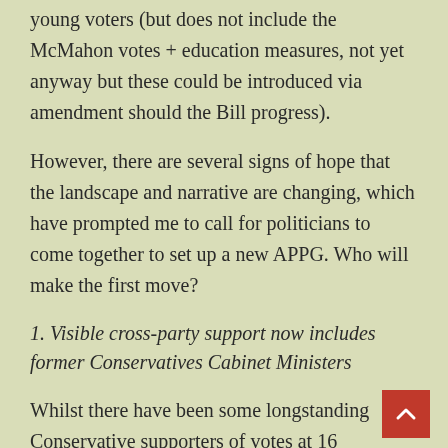young voters (but does not include the McMahon votes + education measures, not yet anyway but these could be introduced via amendment should the Bill progress).
However, there are several signs of hope that the landscape and narrative are changing, which have prompted me to call for politicians to come together to set up a new APPG. Who will make the first move?
1. Visible cross-party support now includes former Conservatives Cabinet Ministers
Whilst there have been some longstanding Conservative supporters of votes at 16 legislation, such as Peter Bottomley MP, who has been a supporter years, co-sponsored the McMahon Bill but didn't get